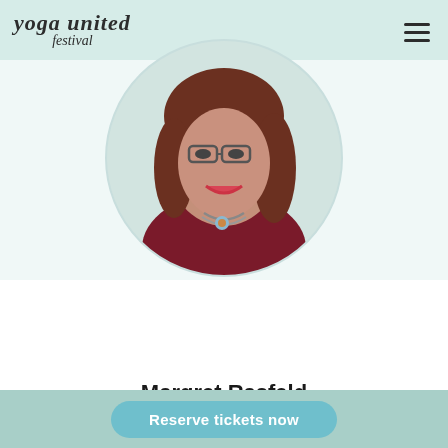yoga united festival
[Figure (photo): Circular portrait photo of Margret Rasfeld, a woman with glasses, reddish-brown hair, smiling, wearing a dark red top and pearl necklace with a colorful brooch.]
Margret Rasfeld
Vortrag & Interview
Reserve tickets now